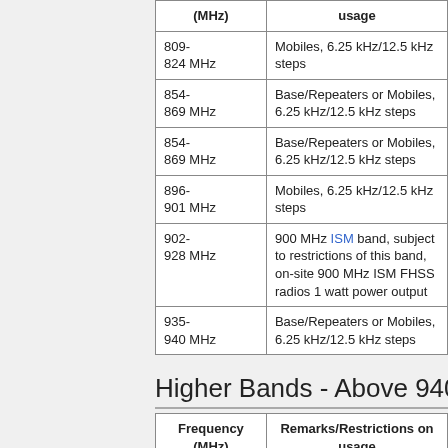| Frequency (MHz) | Remarks/Restrictions on usage |
| --- | --- |
| 809-824 MHz | Mobiles, 6.25 kHz/12.5 kHz steps |
| 854-869 MHz | Base/Repeaters or Mobiles, 6.25 kHz/12.5 kHz steps |
| 854-869 MHz | Base/Repeaters or Mobiles, 6.25 kHz/12.5 kHz steps |
| 896-901 MHz | Mobiles, 6.25 kHz/12.5 kHz steps |
| 902-928 MHz | 900 MHz ISM band, subject to restrictions of this band, on-site 900 MHz ISM FHSS radios 1 watt power output |
| 935-940 MHz | Base/Repeaters or Mobiles, 6.25 kHz/12.5 kHz steps |
Higher Bands - Above 940 MHz
| Frequency (MHz) | Remarks/Restrictions on usage |
| --- | --- |
|  | 1.4 GHz band - Special |